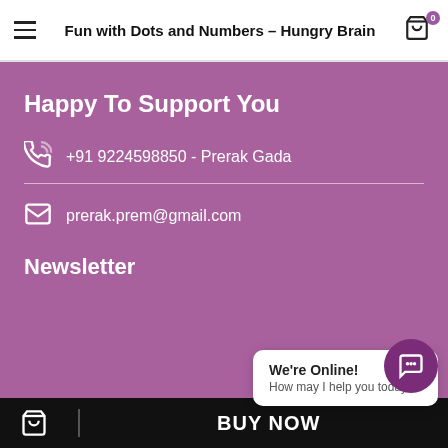Fun with Dots and Numbers – Hungry Brain
Happy To Support You
+91 9224598850 - Prerak Gada
prerak.prem@gmail.com
Newsletter
© 2021 All rights reserved Hungry Brain
We're Online! How may I help you today?
BUY NOW